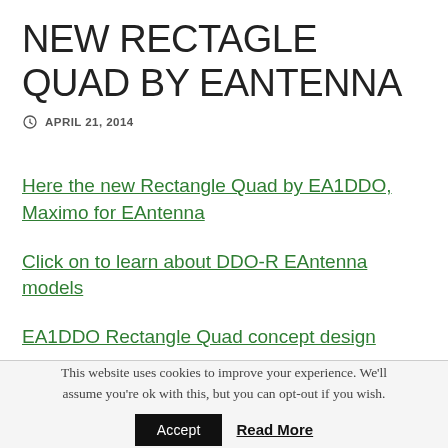NEW RECTAGLE QUAD BY EANTENNA
APRIL 21, 2014
Here the new Rectangle Quad by EA1DDO, Maximo for EAntenna
Click on to learn about DDO-R EAntenna models
EA1DDO Rectangle Quad concept design
This website uses cookies to improve your experience. We'll assume you're ok with this, but you can opt-out if you wish.
Accept   Read More